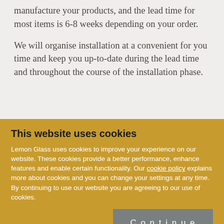manufacture your products, and the lead time for most items is 6-8 weeks depending on your order.
We will organise installation at a convenient for you time and keep you up-to-date during the lead time and throughout the course of the installation phase.
This website uses cookies
Lemon Glass uses cookies to improve your experience on our website. These cookies provide a better performance, enhance features and enable certain functionality. Our cookie policy explains more about cookies and you can change your settings at any time. By continuing to use our website you are agreeing to our use of cookies.
Continue